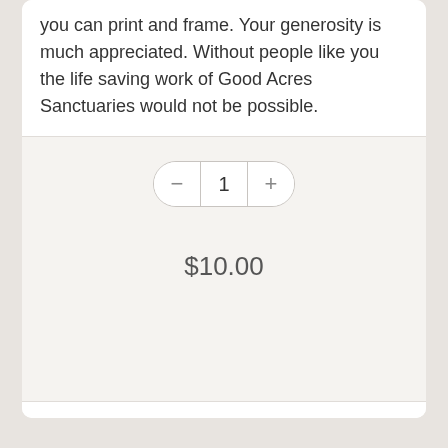you can print and frame. Your generosity is much appreciated. Without people like you the life saving work of Good Acres Sanctuaries would not be possible.
1
$10.00
[Figure (infographic): Social sharing icons: Facebook, Twitter, Pinterest in gray circles]